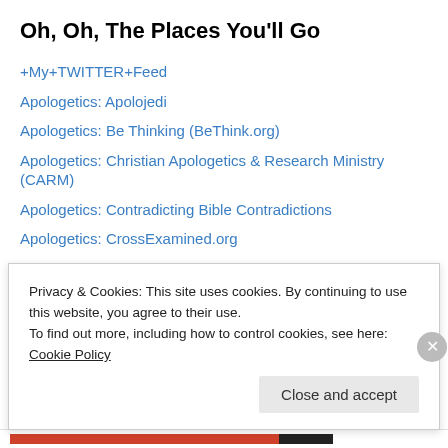Oh, Oh, The Places You'll Go
+My+TWITTER+Feed
Apologetics: Apolojedi
Apologetics: Be Thinking (BeThink.org)
Apologetics: Christian Apologetics & Research Ministry (CARM)
Apologetics: Contradicting Bible Contradictions
Apologetics: CrossExamined.org
Apologetics: Mama Bear Apologetics
Apologetics: New York Apologetics
Apologetics: Please Convince Me
Apologetics: Ratio Christi
Apologetics: Stand to Reason
Privacy & Cookies: This site uses cookies. By continuing to use this website, you agree to their use. To find out more, including how to control cookies, see here: Cookie Policy
Close and accept